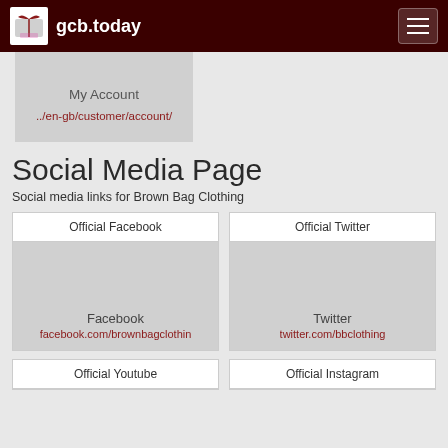gcb.today
My Account
../en-gb/customer/account/
Social Media Page
Social media links for Brown Bag Clothing
Official Facebook
Facebook
facebook.com/brownbagclothing
Official Twitter
Twitter
twitter.com/bbclothing
Official Youtube
Official Instagram